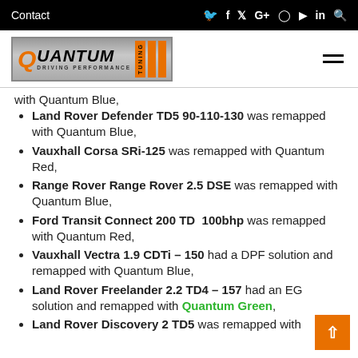Contact
[Figure (logo): Quantum Tuning - Driving Performance logo with orange bars]
with Quantum Blue,
Land Rover Defender TD5 90-110-130 was remapped with Quantum Blue,
Vauxhall Corsa SRi-125 was remapped with Quantum Red,
Range Rover Range Rover 2.5 DSE was remapped with Quantum Blue,
Ford Transit Connect 200 TD  100bhp was remapped with Quantum Red,
Vauxhall Vectra 1.9 CDTi – 150 had a DPF solution and remapped with Quantum Blue,
Land Rover Freelander 2.2 TD4 – 157 had an EGR solution and remapped with Quantum Green,
Land Rover Discovery 2 TD5 was remapped with